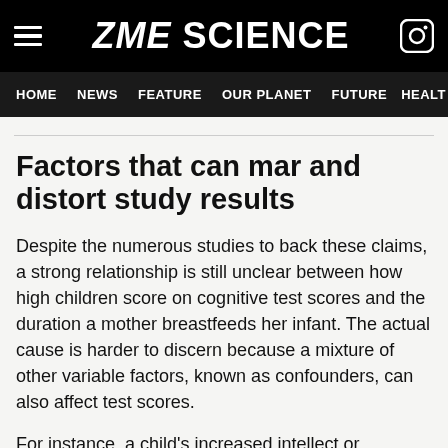ZME SCIENCE
HOME  NEWS  FEATURE  OUR PLANET  FUTURE  HEALTH
Factors that can mar and distort study results
Despite the numerous studies to back these claims, a strong relationship is still unclear between how high children score on cognitive test scores and the duration a mother breastfeeds her infant. The actual cause is harder to discern because a mixture of other variable factors, known as confounders, can also affect test scores.
For instance, a child's increased intellect or